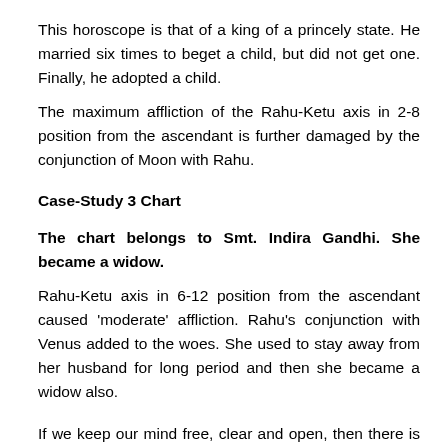This horoscope is that of a king of a princely state. He married six times to beget a child, but did not get one. Finally, he adopted a child.
The maximum affliction of the Rahu-Ketu axis in 2-8 position from the ascendant is further damaged by the conjunction of Moon with Rahu.
Case-Study 3 Chart
The chart belongs to Smt. Indira Gandhi. She became a widow.
Rahu-Ketu axis in 6-12 position from the ascendant caused 'moderate' affliction. Rahu's conjunction with Venus added to the woes. She used to stay away from her husband for long period and then she became a widow also.
If we keep our mind free, clear and open, then there is no